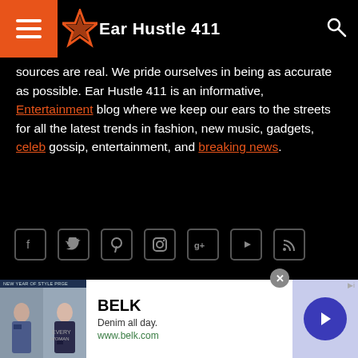Ear Hustle 411
sources are real. We pride ourselves in being as accurate as possible. Ear Hustle 411 is an informative, Entertainment blog where we keep our ears to the streets for all the latest trends in fashion, new music, gadgets, celeb gossip, entertainment, and breaking news.
[Figure (other): Social media icons: Facebook, Twitter, Pinterest, Instagram, Google+, YouTube, RSS]
RECENT POSTS
CEO of Digital Mortgage Company Fires 900 Employees During Zoom Call: “You’re Terminated Effective Immediatly”
Holy Crap Plumber Finds $60K Worth of Cash and Stash...
[Figure (other): BELK advertisement banner: Denim all day. www.belk.com with images of women and a right-arrow button]